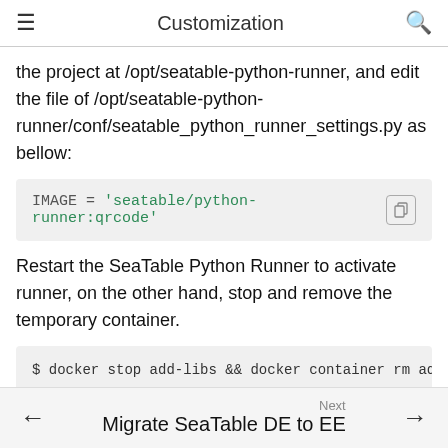Customization
the project at /opt/seatable-python-runner, and edit the file of /opt/seatable-python-runner/conf/seatable_python_runner_settings.py as bellow:
Restart the SeaTable Python Runner to activate runner, on the other hand, stop and remove the temporary container.
Next  Migrate SeaTable DE to EE